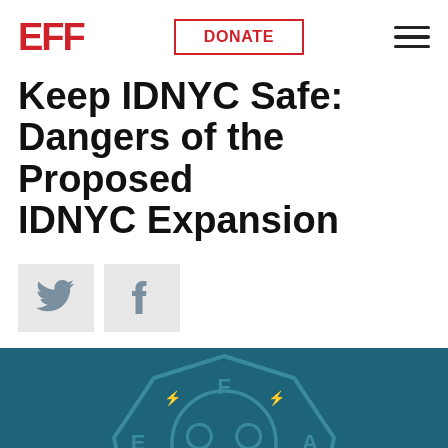EFF | DONATE | menu
Keep IDNYC Safe: Dangers of the Proposed IDNYC Expansion
[Figure (illustration): Social share buttons: Twitter bird icon and Facebook f icon, each in a light gray square button]
[Figure (logo): EFF logo on dark teal background — octagonal badge with letters E, F, A arranged around a central circle containing two crossed skeleton keys; lightning bolts between letters; eye icon at bottom left, megaphone at bottom right, stack of lines at bottom center]